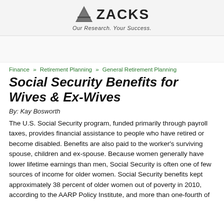[Figure (logo): Zacks Investment Research logo with triangle icon and tagline 'Our Research. Your Success.']
Finance » Retirement Planning » General Retirement Planning
Social Security Benefits for Wives & Ex-Wives
By: Kay Bosworth
The U.S. Social Security program, funded primarily through payroll taxes, provides financial assistance to people who have retired or become disabled. Benefits are also paid to the worker's surviving spouse, children and ex-spouse. Because women generally have lower lifetime earnings than men, Social Security is often one of few sources of income for older women. Social Security benefits kept approximately 38 percent of older women out of poverty in 2010, according to the AARP Policy Institute, and more than one-fourth of